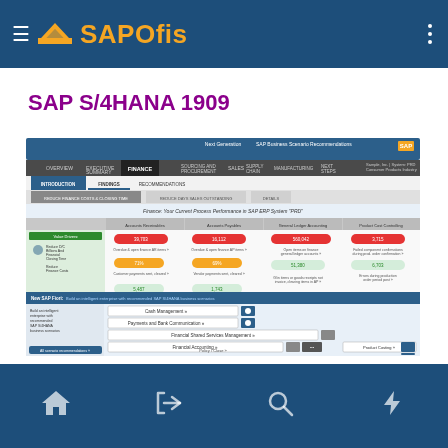SAPOfis
SAP S/4HANA 1909
[Figure (screenshot): SAP S/4HANA Next Generation Business Scenario Recommendations screenshot showing Finance process performance in SAP ERP System PRD, with tabs for Overview, Executive Summary, Finance, Sourcing and Procurement, Sales, Supply Chain, Manufacturing, Next Steps. The Finance tab shows Accounts Receivable, Accounts Payable, General Ledger Accounting, and Product Cost Controlling metrics with colored indicators and SAP Fiori recommendations.]
Home, Login, Search, Flash icons